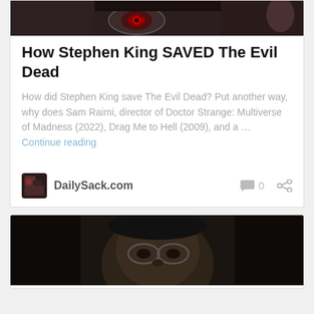[Figure (photo): Top cropped movie still showing a face with a red glowing eye, dark horror imagery]
How Stephen King SAVED The Evil Dead
How did Stephen King save The Evil Dead? Put another way, why does Sam Raimi, director of Doctor Strange: Multiverse of Madness (2022), Drag Me to Hell (2009), and a … Continue reading
DailySack.com
[Figure (photo): Bottom cropped movie still showing a dark face with glasses, horror film imagery]